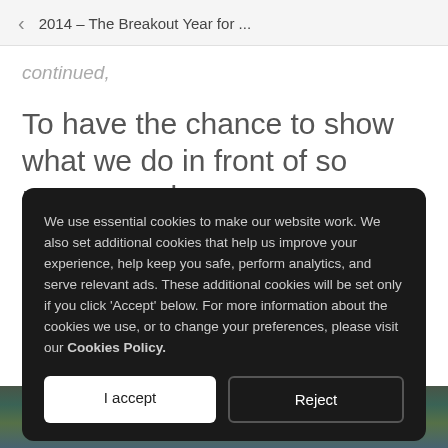2014 – The Breakout Year for ...
continued,
To have the chance to show what we do in front of so many people,
We use essential cookies to make our website work. We also set additional cookies that help us improve your experience, help keep you safe, perform analytics, and serve relevant ads. These additional cookies will be set only if you click 'Accept' below. For more information about the cookies we use, or to change your preferences, please visit our Cookies Policy.
[Figure (photo): Crowd of people in colourful clothing, partially visible at the bottom of the page]